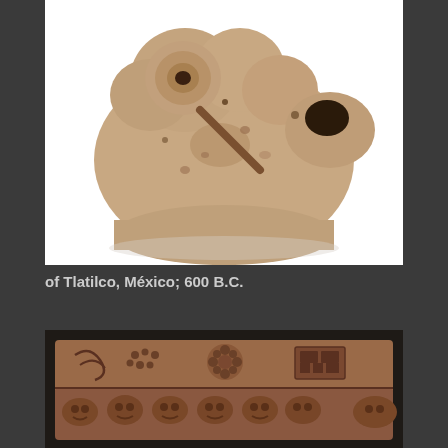[Figure (photo): Close-up photograph of an ancient ceramic artifact from Tlatilco, México, ca. 600 B.C. The object appears to be a highly textured, lumpy clay figurine or vessel fragment with a pale tan/beige color and dark accents, photographed against a white background.]
of Tlatilco, México; 600 B.C.
[Figure (photo): Photograph of an ancient carved stone or ceramic relief slab from a pre-Columbian culture. The reddish-brown artifact features intricate raised designs including faces, dots, floral or geometric motifs, and repeated animal or human figures across two horizontal registers, photographed against a dark background.]